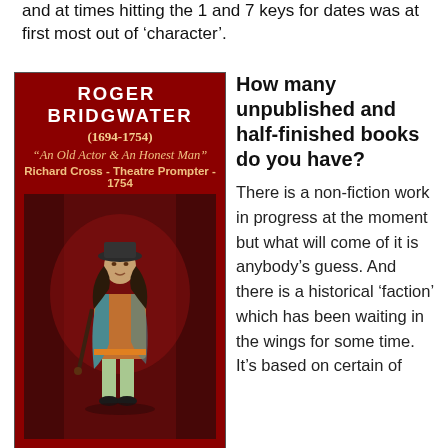and at times hitting the 1 and 7 keys for dates was at first most out of ‘character’.
[Figure (illustration): Book cover for 'Roger Bridgwater (1694-1754) An Old Actor & An Honest Man' by Susan Margaret Cooper, featuring a figure in 18th century theatrical costume against a dark red background.]
How many unpublished and half-finished books do you have?
There is a non-fiction work in progress at the moment but what will come of it is anybody’s guess. And there is a historical ‘faction’ which has been waiting in the wings for some time. It’s based on certain of